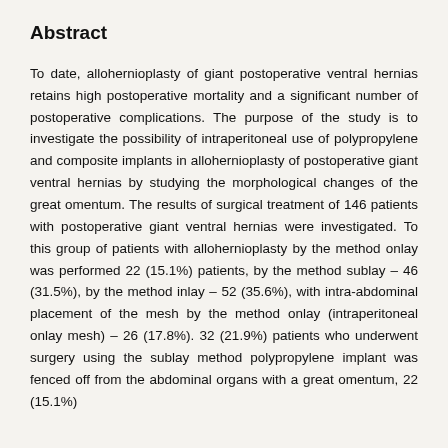Abstract
To date, allohernioplasty of giant postoperative ventral hernias retains high postoperative mortality and a significant number of postoperative complications. The purpose of the study is to investigate the possibility of intraperitoneal use of polypropylene and composite implants in allohernioplasty of postoperative giant ventral hernias by studying the morphological changes of the great omentum. The results of surgical treatment of 146 patients with postoperative giant ventral hernias were investigated. To this group of patients with allohernioplasty by the method onlay was performed 22 (15.1%) patients, by the method sublay – 46 (31.5%), by the method inlay – 52 (35.6%), with intra-abdominal placement of the mesh by the method onlay (intraperitoneal onlay mesh) – 26 (17.8%). 32 (21.9%) patients who underwent surgery using the sublay method polypropylene implant was fenced off from the abdominal organs with a great omentum, 22 (15.1%)